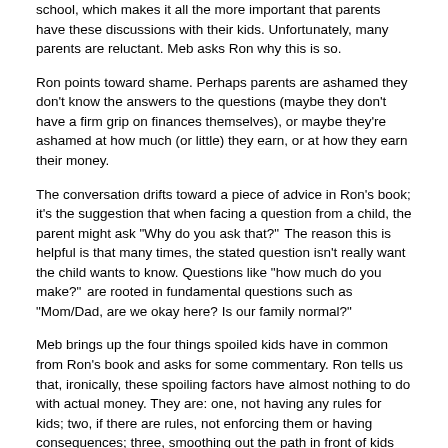school, which makes it all the more important that parents have these discussions with their kids. Unfortunately, many parents are reluctant. Meb asks Ron why this is so.
Ron points toward shame. Perhaps parents are ashamed they don't know the answers to the questions (maybe they don't have a firm grip on finances themselves), or maybe they're ashamed at how much (or little) they earn, or at how they earn their money.
The conversation drifts toward a piece of advice in Ron's book; it's the suggestion that when facing a question from a child, the parent might ask "Why do you ask that?" The reason this is helpful is that many times, the stated question isn't really want the child wants to know. Questions like "how much do you make?" are rooted in fundamental questions such as "Mom/Dad, are we okay here? Is our family normal?"
Meb brings up the four things spoiled kids have in common from Ron's book and asks for some commentary. Ron tells us that, ironically, these spoiling factors have almost nothing to do with actual money. They are: one, not having any rules for kids; two, if there are rules, not enforcing them or having consequences; three, smoothing out the path in front of kids and making sure they never face any challenges; and four, allowing kids to grow up without any context for how lucky they are for their opportunities â€" no gratitude, and instead, an attitude of entitlement.
This dovetails into a great conversation about chores, which points toward allowances. Ron suggests dividing allowances into three buckets: savings